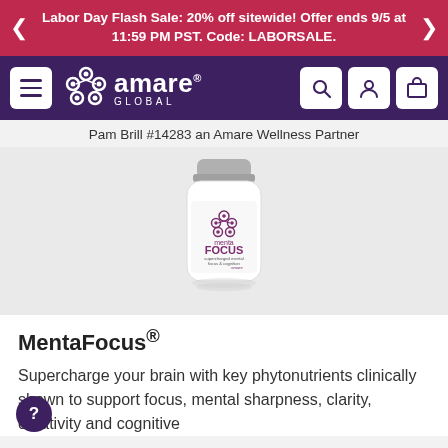Labor Day Flash Sale: 20% off sitewide! Offer ends 9/5 at 11:59 PM PST. Code: LABORSALE.
[Figure (screenshot): Amare Global navigation bar with hamburger menu, logo, search, account, and cart icons]
Pam Brill #14283 an Amare Wellness Partner
[Figure (photo): White supplement bottle labeled 'menta FOCUS supercharged mental focus & cognition' with Amare Global branding]
MentaFocus®
Supercharge your brain with key phytonutrients clinically shown to support focus, mental sharpness, clarity, creativity and cognitive